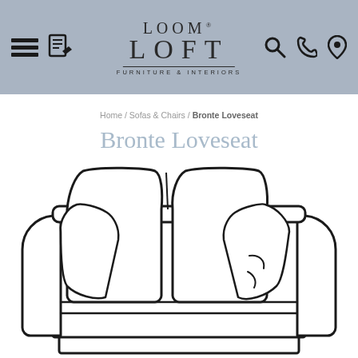Loom Loft Furniture & Interiors
Home / Sofas & Chairs / Bronte Loveseat
Bronte Loveseat
[Figure (illustration): Line drawing illustration of the Bronte Loveseat — a two-seat sofa with two large back cushions, two scatter cushions, wide arms, and a rectangular base/plinth.]